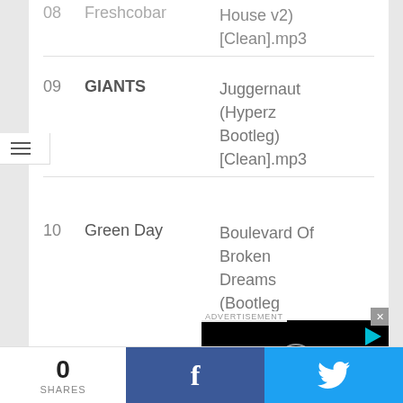08 Freshcobar House v2) [Clean].mp3
09 GIANTS Juggernaut (Hyperz Bootleg) [Clean].mp3
10 Green Day Boulevard Of Broken Dreams (Bootleg Smashup) [Clean].mp3
[Figure (screenshot): ADVERTISEMENT black video player overlay with spinner circle and play icon, with close X button]
0 SHARES
[Figure (infographic): Facebook share button (blue) and Twitter share button (light blue) in footer bar]